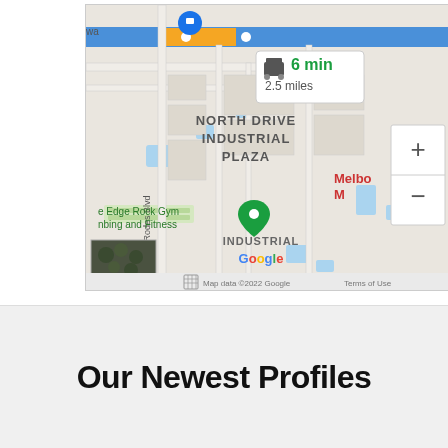[Figure (map): Google Maps screenshot showing North Drive Industrial Plaza area with a route indicator showing 6 min / 2.5 miles. Features a green map pin for 'e Edge Rock Gym nbing and Fitness', street label 'N. John Rodes Blvd', red text 'Melbo M', 'INDUSTRIAL' text, Google logo, zoom controls (+/-), satellite thumbnail, and footer 'Map data ©2022 Google  Terms of Use'.]
Our Newest Profiles